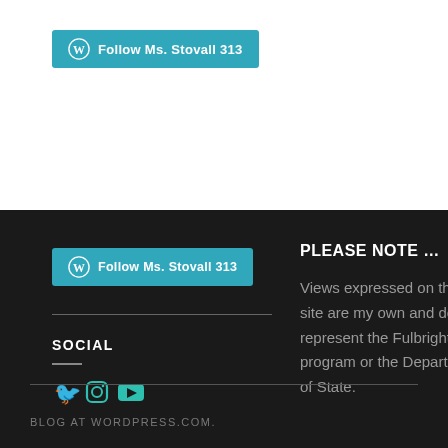[Figure (other): WordPress follow button in teal/cyan color reading 'Follow Ms. Stovall 313' with WordPress logo icon, on white background]
[Figure (other): WordPress follow button in teal/cyan color reading 'Follow Ms. Stovall 313' with WordPress logo icon, on dark background]
PLEASE NOTE …
Views expressed on this site are my own and do not represent the Fulbright program or the Department of State.
SOCIAL
[Figure (other): Social media icons: Twitter bird, Instagram camera, YouTube play button — all in teal/cyan color]
BLOG AT WORDPRESS.COM.